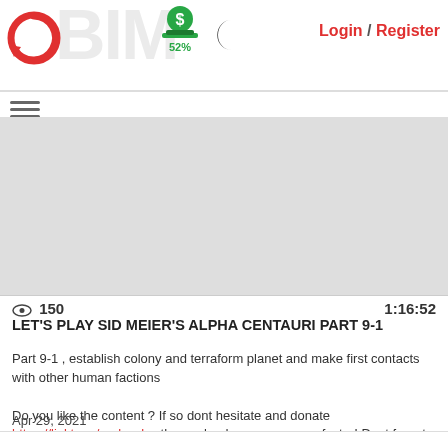[Figure (logo): Red circular arrow logo (Cinetoro or similar)]
[Figure (infographic): Green dollar coin stack icon with 52% label]
[Figure (illustration): Dark crescent moon icon]
Login / Register
[Figure (illustration): Hamburger menu icon (three horizontal lines)]
[Figure (screenshot): Video player thumbnail placeholder area (gray background)]
👁 150   1:16:52
LET'S PLAY SID MEIER'S ALPHA CENTAURI PART 9-1
Part 9-1 , establish colony and terraform planet and make first contacts with other human factions

Do you like the content ? If so dont hesitate and donate https://linktr.ee/aorlovsky, then uploads go even more faster! Dont forget hit like and subscribe ;)
Apr 29, 2021